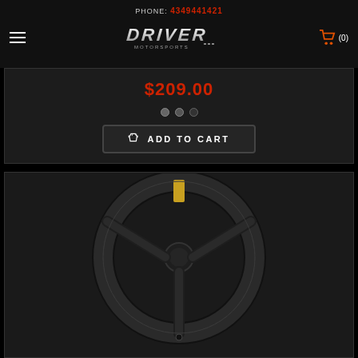PHONE: 4349441421
[Figure (logo): Driver Motorsports logo with shopping cart icon showing (0) items]
$209.00
[Figure (other): Image carousel navigation dots (3 dots)]
ADD TO CART
[Figure (photo): Black leather steering wheel with gold center stripe, viewed from front, three-spoke design with bottom center mounting hole]